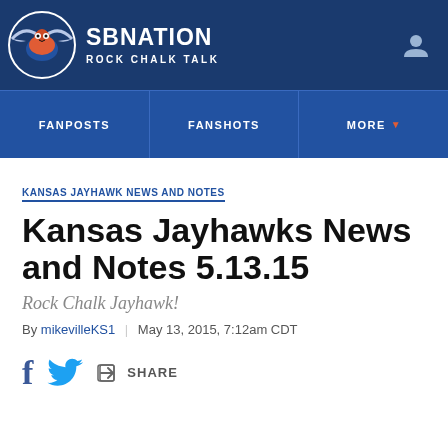SB NATION – ROCK CHALK TALK
KANSAS JAYHAWK NEWS AND NOTES
Kansas Jayhawks News and Notes 5.13.15
Rock Chalk Jayhawk!
By mikevilleKS1 | May 13, 2015, 7:12am CDT